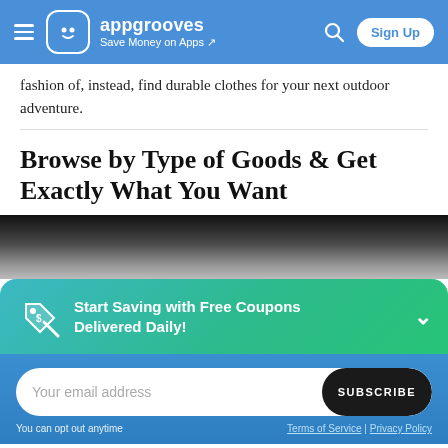appgrooves — Save Money on Apps
fashion of, instead, find durable clothes for your next outdoor adventure.
Browse by Type of Goods & Get Exactly What You Want
[Figure (photo): Close-up photo of a man's face/neck from chin down, dark background]
Start Saving with Free Coupons Delivered Daily!
Your email address  SUBSCRIBE
You can opt out anytime  Terms of Service | Privacy Policy